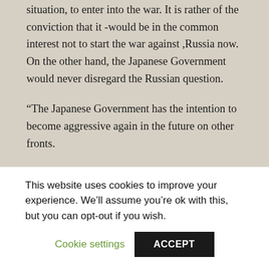situation, to enter into the war. It is rather of the conviction that it -would be in the common interest not to start the war against ,Russia now. On the other hand, the Japanese Government would never disregard the Russian question.
“The Japanese Government has the intention to become aggressive again in the future on other fronts.
“The RAM brought up the question after the explanation by the Ambassador, of how the continued waging of the war is envisaged in Tokyo. At present, Germany wages the war against the common enemies, England and
This website uses cookies to improve your experience. We’ll assume you’re ok with this, but you can opt-out if you wish.